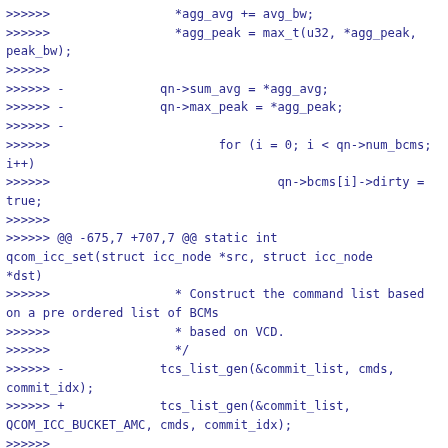>>>>>> 		*agg_avg += avg_bw;
>>>>>> 		*agg_peak = max_t(u32, *agg_peak, peak_bw);
>>>>>>
>>>>>> - 		qn->sum_avg = *agg_avg;
>>>>>> - 		qn->max_peak = *agg_peak;
>>>>>> -
>>>>>> 			for (i = 0; i < qn->num_bcms; i++)
>>>>>> 				qn->bcms[i]->dirty = true;
>>>>>>
>>>>>> @@ -675,7 +707,7 @@ static int qcom_icc_set(struct icc_node *src, struct icc_node *dst)
>>>>>> 		 * Construct the command list based on a pre ordered list of BCMs
>>>>>> 		 * based on VCD.
>>>>>> 		 */
>>>>>> - 		tcs_list_gen(&commit_list, cmds, commit_idx);
>>>>>> + 		tcs_list_gen(&commit_list, QCOM_ICC_BUCKET_AMC, cmds, commit_idx);
>>>>>>
>>>>>> 			if (!commit_idx[0])
>>>>>> 				return ret;
>>>>>> @@ -693,6 +725,41 @@ static int qcom_icc_set(struct icc_node *src, struct icc_node *dst)
>>>>>> 				return ret;
>>>>>> 		}
>>>>>>